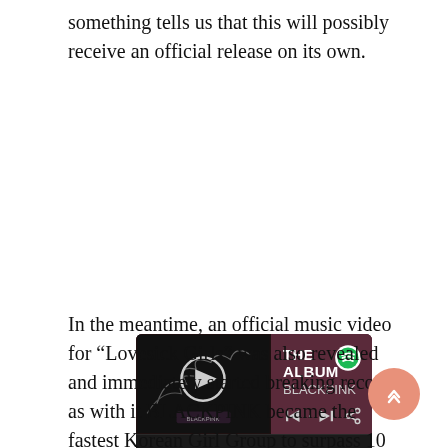something tells us that this will possibly receive an official release on its own.
[Figure (screenshot): Spotify music player card showing THE ALBUM by BLACKPINK with tracklist: 1. How You Like That 3:02, 2. Ice Cream (with Selena Gomez) 2:57, 3. Pretty Savage 3:21, 4. Bet You Wanna (feat. Cardi B) 2:41]
In the meantime, an official music video for “Lovesick Girls” was also revealed and immediately started breaking records as with it BLACKPINK became the fastest Korean Girl Group to surpass 10 million vi outdoing their previous single “Ice Cream”.